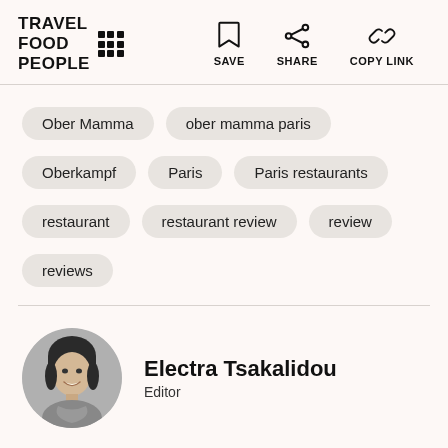TRAVEL FOOD PEOPLE
Ober Mamma
ober mamma paris
Oberkampf
Paris
Paris restaurants
restaurant
restaurant review
review
reviews
Electra Tsakalidou
Editor